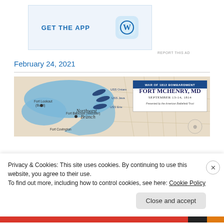[Figure (other): Advertisement banner with 'GET THE APP' text in blue and a WordPress logo icon on a light blue background]
REPORT THIS AD
February 24, 2021
[Figure (map): Map of Fort McHenry, MD showing War of 1812 Bombardment, September 13-14, 1814. Shows Northwest Branch waterway in blue with ship positions (USS Ontara, USS Java, USS Erie) and fort locations including Fort Lookout (Budd), Fort Babcock (Webster), Fort Covington. Presented by the American Battlefield Trust.]
Privacy & Cookies: This site uses cookies. By continuing to use this website, you agree to their use.
To find out more, including how to control cookies, see here: Cookie Policy